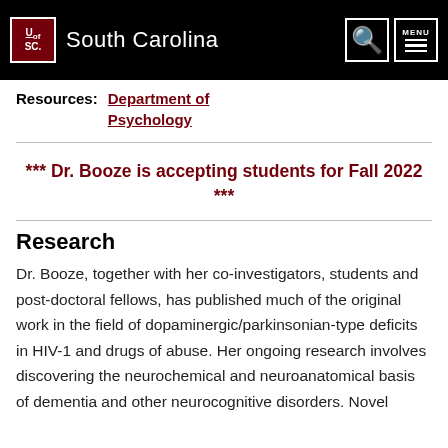University of South Carolina
Resources: Department of Psychology
*** Dr. Booze is accepting students for Fall 2022 ***
Research
Dr. Booze, together with her co-investigators, students and post-doctoral fellows, has published much of the original work in the field of dopaminergic/parkinsonian-type deficits in HIV-1 and drugs of abuse. Her ongoing research involves discovering the neurochemical and neuroanatomical basis of dementia and other neurocognitive disorders. Novel